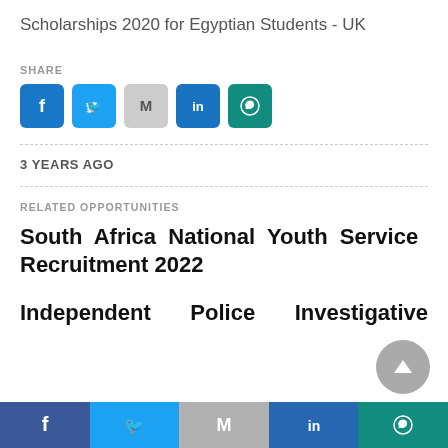Scholarships 2020 for Egyptian Students - UK
SHARE
[Figure (other): Social share icons: Facebook, Twitter, Gmail, LinkedIn, WhatsApp]
3 YEARS AGO
RELATED OPPORTUNITIES
South Africa National Youth Service Recruitment 2022
Independent   Police   Investigative